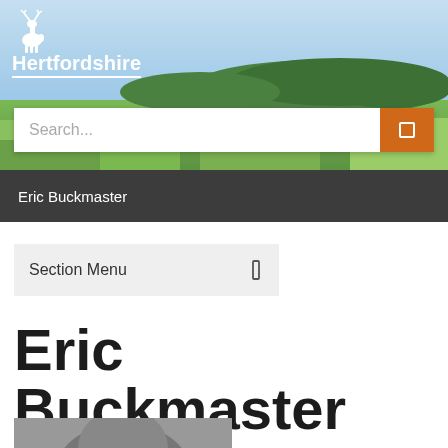[Figure (photo): Hertfordshire county council website header with aerial landscape photo showing green fields, trees and sky, with white deer logo and 'Hertfordshire' wordmark overlay]
Hertfordshire
Search...
Eric Buckmaster
Section Menu
Eric Buckmaster
[Figure (photo): Partial photo of Eric Buckmaster, showing top of head, greyscale]